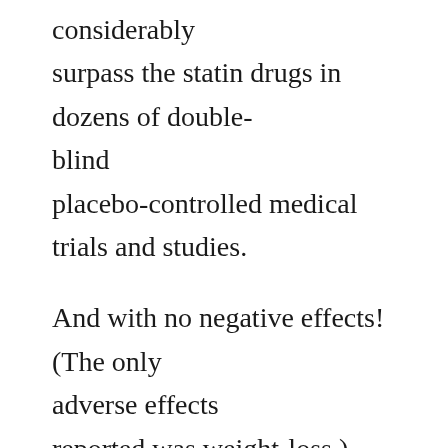considerably surpass the statin drugs in dozens of double-blind placebo-controlled medical trials and studies.
And with no negative effects! (The only adverse effects reported was weight-loss.)
What You Actually Need To Lower Cholesterol: